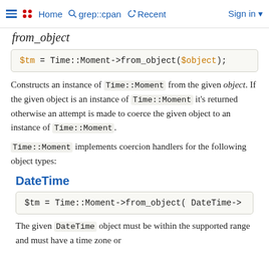Home  grep::cpan  Recent  Sign in
from_object
$tm = Time::Moment->from_object($object);
Constructs an instance of Time::Moment from the given object. If the given object is an instance of Time::Moment it's returned otherwise an attempt is made to coerce the given object to an instance of Time::Moment.
Time::Moment implements coercion handlers for the following object types:
DateTime
$tm = Time::Moment->from_object( DateTime->...
The given DateTime object must be within the supported range and must have a time zone or